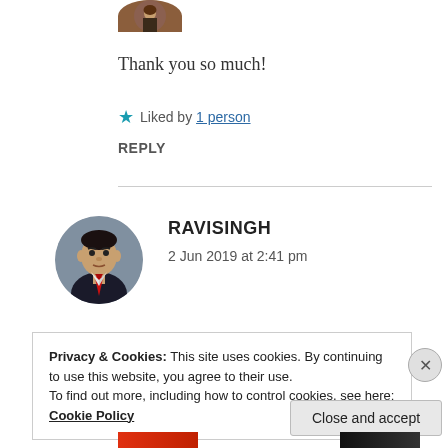[Figure (photo): Cropped circular avatar photo at top of comment, partially visible]
Thank you so much!
★ Liked by 1 person
REPLY
[Figure (photo): Circular profile photo of RAVISINGH, man in suit with red tie]
RAVISINGH
2 Jun 2019 at 2:41 pm
Privacy & Cookies: This site uses cookies. By continuing to use this website, you agree to their use.
To find out more, including how to control cookies, see here: Cookie Policy
Close and accept